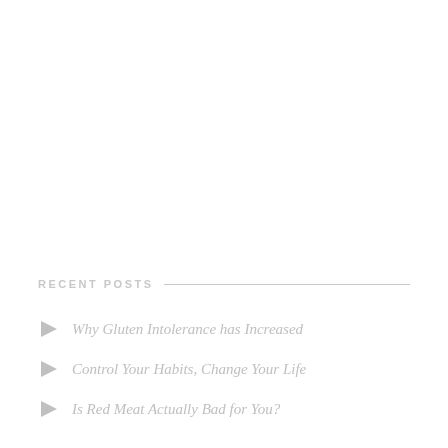RECENT POSTS
Why Gluten Intolerance has Increased
Control Your Habits, Change Your Life
Is Red Meat Actually Bad for You?